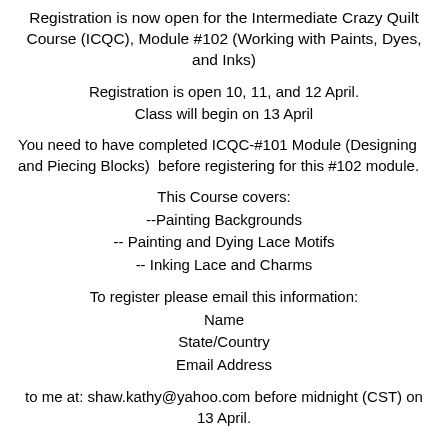Registration is now open for the Intermediate Crazy Quilt Course (ICQC), Module #102 (Working with Paints, Dyes, and Inks)
Registration is open 10, 11, and 12 April.
Class will begin on 13 April
You need to have completed ICQC-#101 Module (Designing and Piecing Blocks)  before registering for this #102 module.
This Course covers:
--Painting Backgrounds
-- Painting and Dying Lace Motifs
-- Inking Lace and Charms
To register please email this information:
Name
State/Country
Email Address
to me at: shaw.kathy@yahoo.com before midnight (CST) on 13 April.